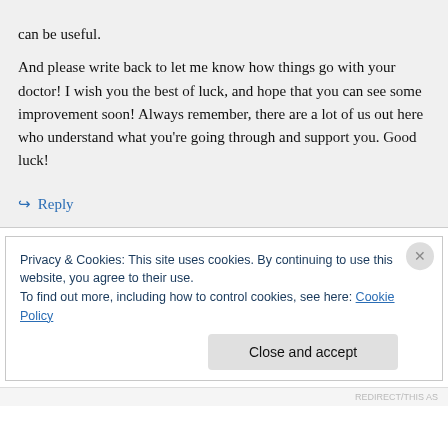can be useful.

And please write back to let me know how things go with your doctor! I wish you the best of luck, and hope that you can see some improvement soon! Always remember, there are a lot of us out here who understand what you’re going through and support you. Good luck!
↪ Reply
Privacy & Cookies: This site uses cookies. By continuing to use this website, you agree to their use.
To find out more, including how to control cookies, see here: Cookie Policy
Close and accept